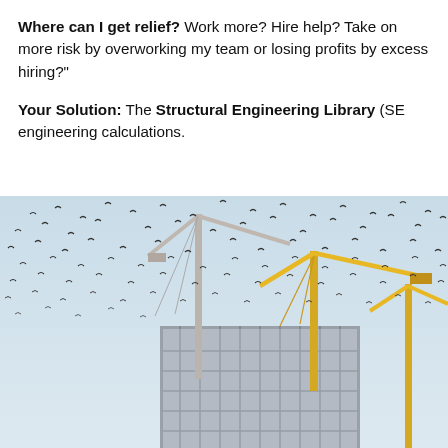Where can I get relief? Work more? Hire help? Take on more risk by overworking my team or losing profits by excess hiring?"
Your Solution: The Structural Engineering Library (SE... engineering calculations.
[Figure (photo): Construction site with tall yellow cranes and scaffolding on a building under construction, with many birds flying in the sky above.]